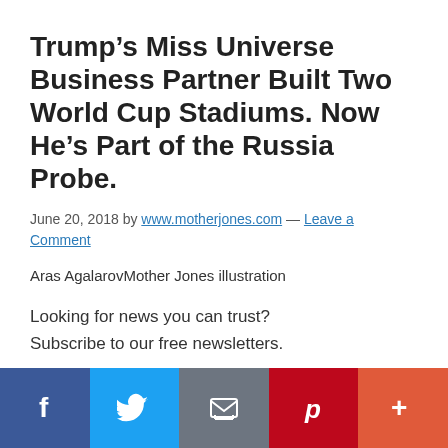Trump’s Miss Universe Business Partner Built Two World Cup Stadiums. Now He’s Part of the Russia Probe.
June 20, 2018 by www.motherjones.com — Leave a Comment
Aras AgalarovMother Jones illustration
Looking for news you can trust? Subscribe to our free newsletters.